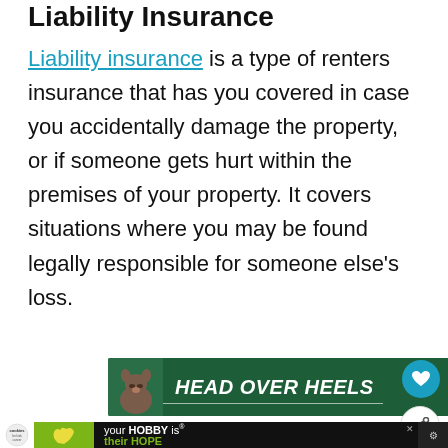Liability Insurance
Liability insurance is a type of renters insurance that has you covered in case you accidentally damage the property, or if someone gets hurt within the premises of your property. It covers situations where you may be found legally responsible for someone else's loss.
[Figure (screenshot): Advertisement banner: dark green background with dog image and bold italic text reading HEAD OVER HEELS with white underline. Blue X close button in top right.]
[Figure (screenshot): Advertisement banner at bottom: black background with cookies for kids cancer logo, green heart image, and text 'your HOBBY is their HOPE'.]